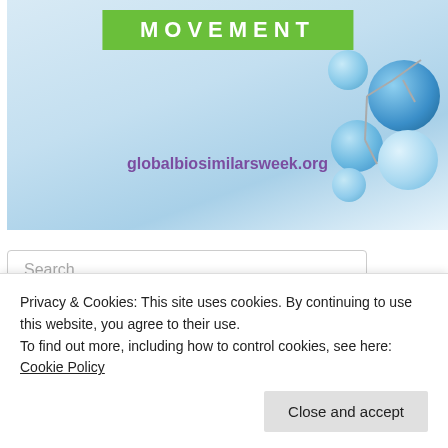[Figure (illustration): Banner image with green bar reading MOVEMENT, URL globalbiosimilarsweek.org in purple, and blue molecular structure on right side against light blue background]
Search …
Recent Posts
Samsung Bioenis and Organon Score Citrate-Free
Privacy & Cookies: This site uses cookies. By continuing to use this website, you agree to their use.
To find out more, including how to control cookies, see here:
Cookie Policy
Close and accept